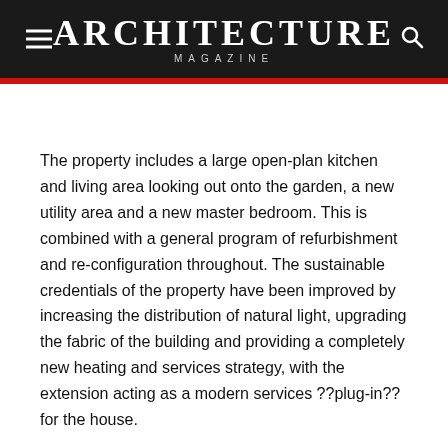ARCHITECTURE MAGAZINE
The property includes a large open-plan kitchen and living area looking out onto the garden, a new utility area and a new master bedroom. This is combined with a general program of refurbishment and re-configuration throughout. The sustainable credentials of the property have been improved by increasing the distribution of natural light, upgrading the fabric of the building and providing a completely new heating and services strategy, with the extension acting as a modern services ??plug-in?? for the house.